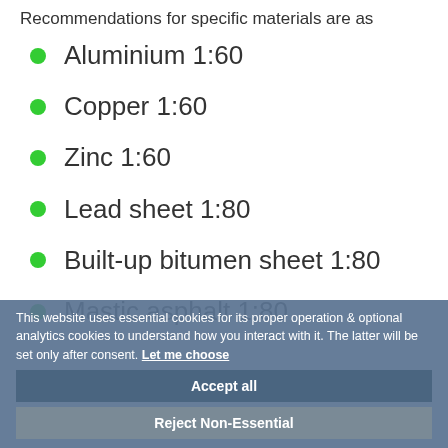Recommendations for specific materials are as
Aluminium 1:60
Copper 1:60
Zinc 1:60
Lead sheet 1:80
Built-up bitumen sheet 1:80
Mastic asphalt 1:80
This website uses essential cookies for its proper operation & optional analytics cookies to understand how you interact with it. The latter will be set only after consent. Let me choose
Accept all
Reject Non-Essential
Green roofs should have a fall of not le
be built in accordance with manufacture